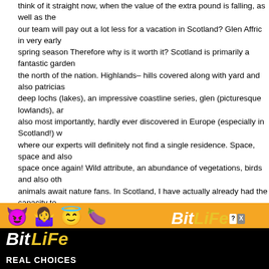think of it straight now, when the value of the extra pound is falling, as well as the our team will pay out a lot less for a vacation in Scotland? Glen Affric in very early spring season Therefore why is it worth it? Scotland is primarily a fantastic garden the north of the nation. Highlands– hills covered along with yard and also patricias deep lochs (lakes), an impressive coastline series, glen (picturesque lowlands), an also most importantly, hardly ever discovered in Europe (especially in Scotland!) v where our experts will definitely not find a single residence. Space, space and alse space once again! Wild attribute, an abundance of vegetations, birds and also oth animals await nature fans. In Scotland, I have actually already had the capacity to seals, dolphins or perhaps deer. Scotland is actually also a traditionally intriguing property (that viewed Brave Heart?), Where you can see stunning rock palaces (Edinburgh, Stirling, Linlithgow, Eilean Donan). The funds on its own, the magnific Edinburgh, also is worthy of interest, specifically in the course of the summer festi country Scotland, scottish Scotland, application Scotland, conservative Scotland, i Scotland, scotland Scotland, our company Scotland, edinburgh Scotland, child Scotland, cult Scotland, map Scotland, iona Scotland, menu Scotland, travel Scoti data Scotland, background Scotland, car Scotland, ship Scotland, uk Scotland, tra Scotland, celtic Scotland, glasgow Scotland, shetland Scotland, lifestyle Scotland, Scotland, bus Scotland, information Scotland, learning Scotland, bit Scotland, navigating Scotland, cookie Scotland, covid Scotland, sport Scotland, ease of acc Scotland, videos Scotland, highland activities Scotland, community Scotland, golf Scotland, scots Scotland, meals Scotland, whisky Scotland, spending plan Scotlan visitscotland Scotland, museum Scotland, email list Scotland, arbroath Scotland, h Scotland, street Scotland, distilleries Scotland, street andrews Scotland, alcoholic beverage Scotland, check out scotland Scotland, europe Sc stles Scotla potential Scotland, take in Scotland, blogging site Scotland, dundee Scotland, ste Scotland, cotland. Edinburgh certainly sta along with with symbolic
[Figure (screenshot): Advertisement overlay: orange background with emoji row (devil, woman raising hands, winking face with halo, sperm emoji) and a Close X button. Below is a black BitLife logo bar with 'REAL CHOICES' text.]